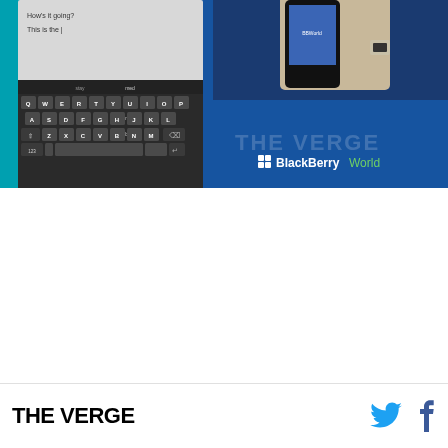[Figure (screenshot): BlackBerry World event promotional image showing a BlackBerry phone keyboard interface on the left (touchscreen keyboard with QWERTY layout visible), and a hand holding a BlackBerry smartphone on the right upper area. Both are set against a blue background. The bottom right features 'THE VERGE' watermark text and the BlackBerry World logo with a green 'World' text.]
THE VERGE